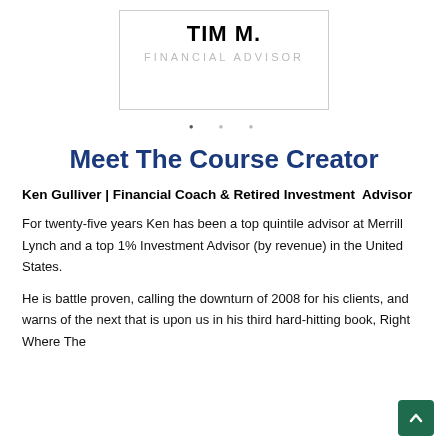[Figure (other): Card with name TIM M. and subtitle FINANCIAL ADVISOR in a bordered box]
• • •
Meet The Course Creator
Ken Gulliver | Financial Coach & Retired Investment Advisor
For twenty-five years Ken has been a top quintile advisor at Merrill Lynch and a top 1% Investment Advisor (by revenue) in the United States.
He is battle proven, calling the downturn of 2008 for his clients, and warns of the next that is upon us in his third hard-hitting book, Right Where They...